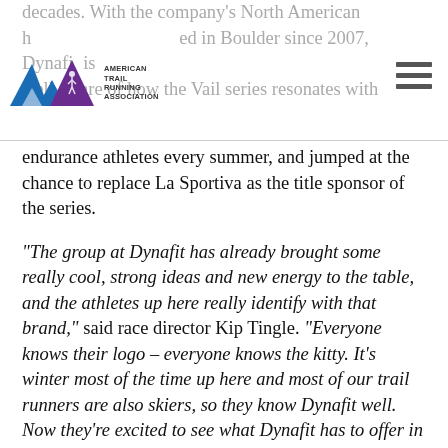decades. With the company's North American headquarters located in Boulder since 2007, Dynafit is well aware of how the Vail series resonates with
[Figure (logo): ATRA - American Trail Running Association logo with mountain/trail graphic in blue and purple]
[Figure (other): Hamburger menu icon (three horizontal lines)]
endurance athletes every summer, and jumped at the chance to replace La Sportiva as the title sponsor of the series.
“The group at Dynafit has already brought some really cool, strong ideas and new energy to the table, and the athletes up here really identify with that brand,” said race director Kip Tingle. “Everyone knows their logo – everyone knows the kitty. It’s winter most of the time up here and most of our trail runners are also skiers, so they know Dynafit well. Now they’re excited to see what Dynafit has to offer in the summer.”
Dynafit will provide new prizes and raffle items after each race, and the company will also help the series cut back on reducing waste on race day. And for racers that means goodbye to paper cups discarded on the ground.